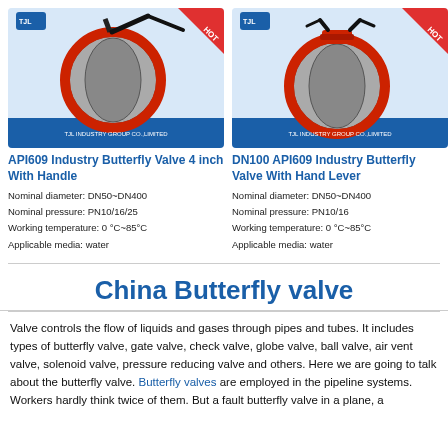[Figure (photo): API609 Industry Butterfly Valve 4 inch With Handle - red butterfly valve with black lever handle, TJL Industry Group Co., Limited branding]
API609 Industry Butterfly Valve 4 inch With Handle
Nominal diameter: DN50~DN400
Nominal pressure: PN10/16/25
Working temperature: 0 °C~85°C
Applicable media: water
[Figure (photo): DN100 API609 Industry Butterfly Valve With Hand Lever - red butterfly valve with gear/lever handle, TJL Industry Group Co., Limited branding]
DN100 API609 Industry Butterfly Valve With Hand Lever
Nominal diameter: DN50~DN400
Nominal pressure: PN10/16
Working temperature: 0 °C~85°C
Applicable media: water
China Butterfly valve
Valve controls the flow of liquids and gases through pipes and tubes. It includes types of butterfly valve, gate valve, check valve, globe valve, ball valve, air vent valve, solenoid valve, pressure reducing valve and others. Here we are going to talk about the butterfly valve. Butterfly valves are employed in the pipeline systems. Workers hardly think twice of them. But a fault butterfly valve in a plane, a